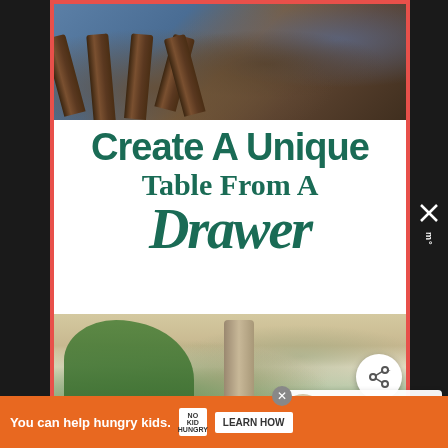[Figure (photo): Close-up photo of wooden spindle furniture legs/chair legs lying on a blue fabric background]
Create A Unique Table From A Drawer
[Figure (photo): Interior home decor photo showing a flower arrangement with pink flowers and green leaves, a tall ornate candle holder with a white candle, and a decorative mirror in the background]
WHAT'S NEXT → 5 Things To Buy For...
You can help hungry kids. NO KID HUNGRY LEARN HOW